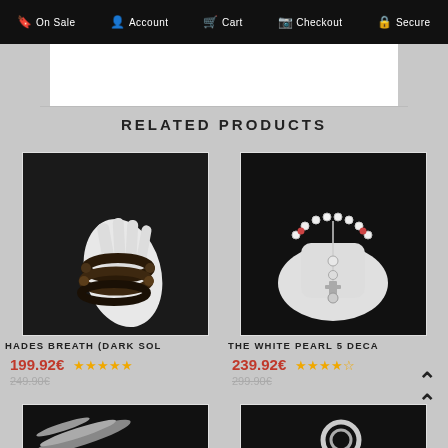On Sale  Account  Cart  Checkout  Secure
RELATED PRODUCTS
[Figure (photo): Dark beaded bracelets on a white mannequin hand against black background]
HADES BREATH (DARK SOL
199.92€ ★★★★★ 249.90€
[Figure (photo): White pearl rosary necklace on white mannequin bust against black background]
THE WHITE PEARL 5 DECA
239.92€ ★★★★½ 299.90€
[Figure (photo): Partial view of jewelry product at bottom left]
[Figure (photo): Partial view of jewelry product at bottom right]